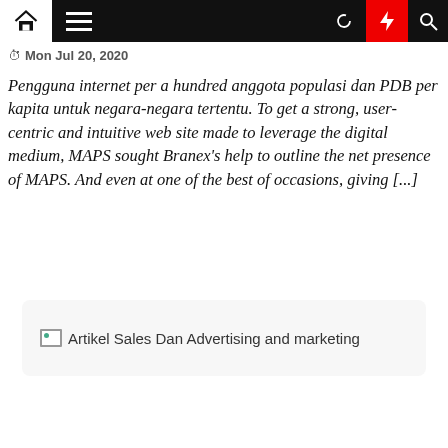Navigation bar with home, menu, moon, lightning, search icons
Mon Jul 20, 2020
Pengguna internet per a hundred anggota populasi dan PDB per kapita untuk negara-negara tertentu. To get a strong, user-centric and intuitive web site made to leverage the digital medium, MAPS sought Branex's help to outline the net presence of MAPS. And even at one of the best of occasions, giving [...]
[Figure (other): Broken image placeholder labeled 'Artikel Sales Dan Advertising and marketing']